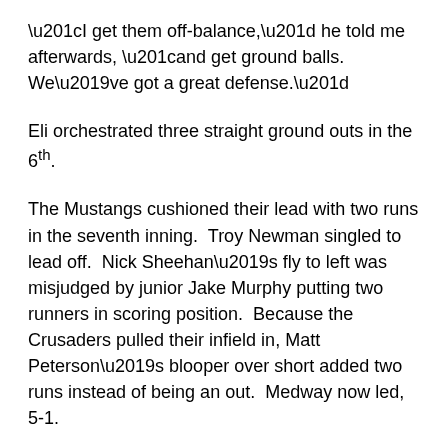“I get them off-balance,” he told me afterwards, “and get ground balls.  We’ve got a great defense.”
Eli orchestrated three straight ground outs in the 6th.
The Mustangs cushioned their lead with two runs in the seventh inning.  Troy Newman singled to lead off.  Nick Sheehan’s fly to left was misjudged by junior Jake Murphy putting two runners in scoring position.  Because the Crusaders pulled their infield in, Matt Peterson’s blooper over short added two runs instead of being an out.  Medway now led, 5-1.
Fenwick got a runner (Scott Emerson) on second with two outs in the seventh but Harrison Brickett’s grounder ended things for the Crusaders.
Troy DeLoury came on for RF in the 4th and at one point